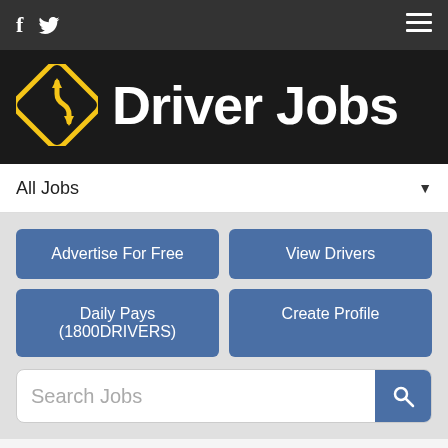f  [twitter icon]  [hamburger menu]
Driver Jobs
All Jobs
Advertise For Free
View Drivers
Daily Pays (1800DRIVERS)
Create Profile
Search Jobs
Jobs tagged "Super B"
[Figure (photo): Partial thumbnail of a job listing image, showing blue sky]